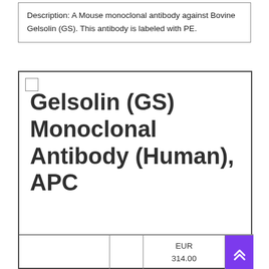Description: A Mouse monoclonal antibody against Bovine Gelsolin (GS). This antibody is labeled with PE.
Gelsolin (GS) Monoclonal Antibody (Human), APC
|  |  | EUR 314.00 |  |
| --- | --- | --- | --- |